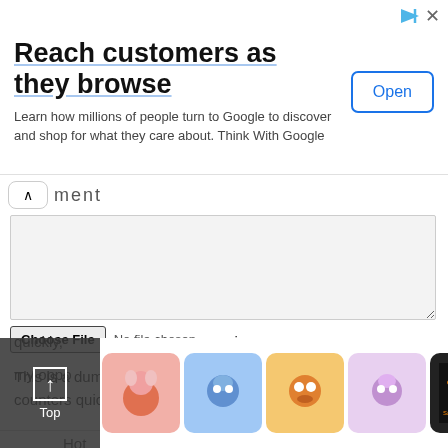[Figure (screenshot): Google ad banner: 'Reach customers as they browse' with Open button]
[Figure (screenshot): Comment form with textarea, Choose File button, and Post comment button]
[Figure (screenshot): Navigation tabs: Hot, New, Top]
[Figure (screenshot): Top button overlay (dark semi-transparent)]
anonymous
This is a dumb card, if I use multi attacker to gather the counters quickly, since my oppo turn and